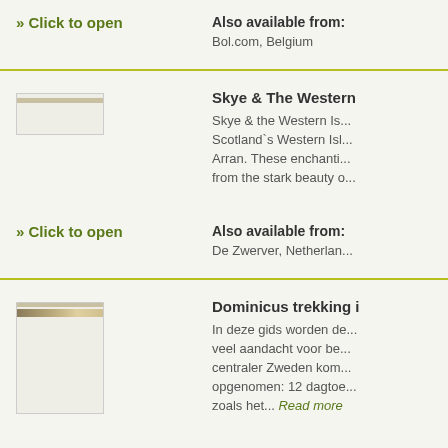» Click to open
Also available from:
Bol.com, Belgium
Skye & The Western
Skye & the Western Is... Scotland`s Western Isl... Arran. These enchanti... from the stark beauty o...
» Click to open
Also available from:
De Zwerver, Netherlan...
Dominicus trekking i
In deze gids worden de... veel aandacht voor be... centraler Zweden kom... opgenomen: 12 dagtoe... zoals het... Read more
» Click to open
Also available from: